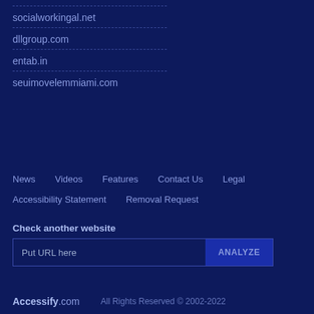socialworkingal.net
dllgroup.com
entab.in
seuimovelemmiami.com
News   Videos   Features   Contact Us   Legal   Accessibility Statement   Removal Request
Check another website
Put URL here   ANALYZE
Accessify.com   All Rights Reserved © 2002-2022